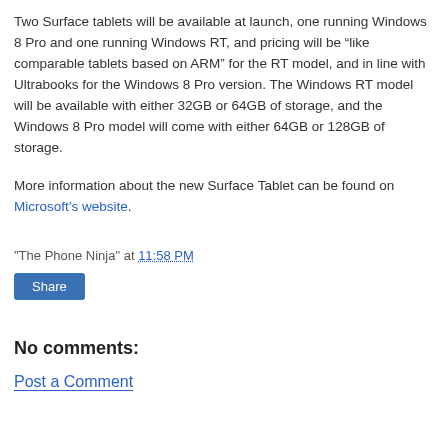Two Surface tablets will be available at launch, one running Windows 8 Pro and one running Windows RT, and pricing will be “like comparable tablets based on ARM” for the RT model, and in line with Ultrabooks for the Windows 8 Pro version. The Windows RT model will be available with either 32GB or 64GB of storage, and the Windows 8 Pro model will come with either 64GB or 128GB of storage.
More information about the new Surface Tablet can be found on Microsoft’s website.
"The Phone Ninja" at 11:58 PM
Share
No comments:
Post a Comment